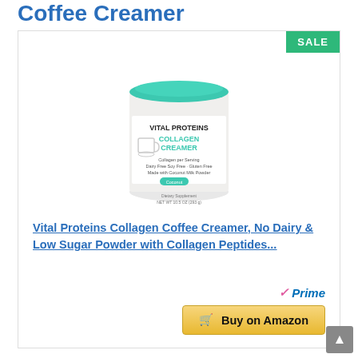Coffee Creamer
[Figure (photo): Vital Proteins Collagen Creamer product container with teal lid and white label, dietary supplement powder]
Vital Proteins Collagen Coffee Creamer, No Dairy & Low Sugar Powder with Collagen Peptides...
✓Prime
🛒 Buy on Amazon